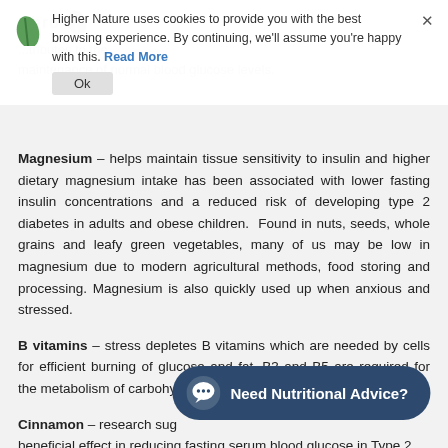[Figure (screenshot): Cookie consent banner overlay with Higher Nature logo (green leaf), text about cookies and browsing experience, a 'Read More' link, an X close button, and an 'Ok' button.]
Chro... ...tributes to the maintenance of normal blood glucose levels. (greyed out background text)
Magnesium – helps maintain tissue sensitivity to insulin and higher dietary magnesium intake has been associated with lower fasting insulin concentrations and a reduced risk of developing type 2 diabetes in adults and obese children. Found in nuts, seeds, whole grains and leafy green vegetables, many of us may be low in magnesium due to modern agricultural methods, food storing and processing. Magnesium is also quickly used up when anxious and stressed.
B vitamins – stress depletes B vitamins which are needed by cells for efficient burning of glucose and fat. B3 and B5 are required for the metabolism of carbohydrates and fat.
Cinnamon – research suggests that cinnamon may have a beneficial effect in reducing fasting serum blood glucose in Type 2
[Figure (infographic): Dark navy rounded pill-shaped chat button overlay at bottom right reading 'Need Nutritional Advice?' with a speech bubble chat icon on the left.]